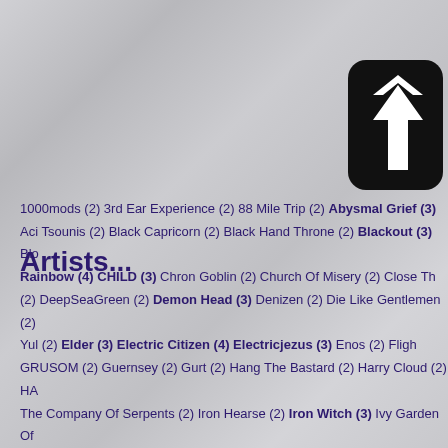[Figure (logo): Black rounded square logo with white arrow/rune symbol, partially cropped at top-right corner]
Artists...
1000mods (2) 3rd Ear Experience (2) 88 Mile Trip (2) Abysmal Grief (3) Acid Tsounis (2) Black Capricorn (2) Black Hand Throne (2) Blackout (3) Rainbow (4) CHILD (3) Chron Goblin (2) Church Of Misery (2) Close The (2) DeepSeaGreen (2) Demon Head (3) Denizen (2) Die Like Gentlemen (2) Yul (2) Elder (3) Electric Citizen (4) Electricjezus (3) Enos (2) Flight GRUSOM (2) Guernsey (2) Gurt (2) Hang The Bastard (2) Harry Cloud (2) HAT The Company Of Serpents (2) Iron Hearse (2) Iron Witch (3) Ivy Garden Of